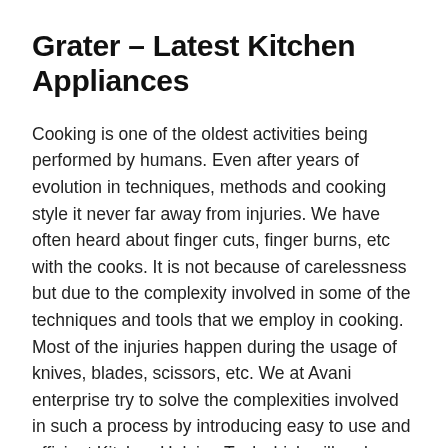Grater – Latest Kitchen Appliances
Cooking is one of the oldest activities being performed by humans. Even after years of evolution in techniques, methods and cooking style it never far away from injuries. We have often heard about finger cuts, finger burns, etc with the cooks. It is not because of carelessness but due to the complexity involved in some of the techniques and tools that we employ in cooking. Most of the injuries happen during the usage of knives, blades, scissors, etc. We at Avani enterprise try to solve the complexities involved in such a process by introducing easy to use and efficient Kitchen Helping Tool which will make sure you enjoy cooking. Cooking is